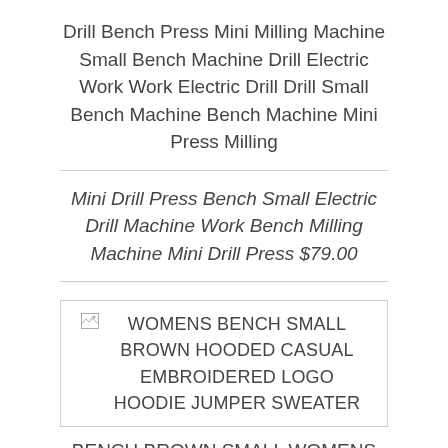Drill Bench Press Mini Milling Machine Small Bench Machine Drill Electric Work Work Electric Drill Drill Small Bench Machine Bench Machine Mini Press Milling
Mini Drill Press Bench Small Electric Drill Machine Work Bench Milling Machine Mini Drill Press $79.00
[Figure (photo): Broken image placeholder with alt text: WOMENS BENCH SMALL BROWN HOODED CASUAL EMBROIDERED LOGO HOODIE JUMPER SWEATER]
BENCH BROWN SMALL WOMENS SWEATER HOODED JUMPER LOGO